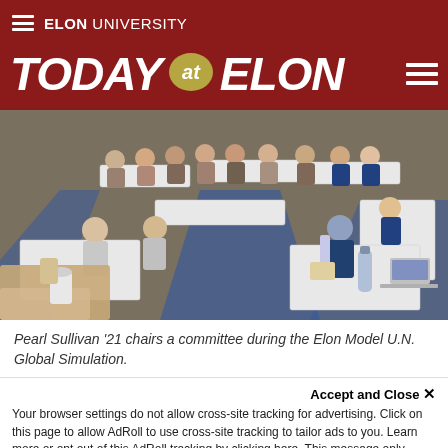ELON UNIVERSITY
TODAY at ELON
[Figure (photo): Students seated around tables arranged in a large rectangle in a classroom, participating in what appears to be a Model U.N. committee session. Approximately 20-25 students are visible. The room has blue carpet accents.]
Pearl Sullivan '21 chairs a committee during the Elon Model U.N. Global Simulation.
Accept and Close ✕
Your browser settings do not allow cross-site tracking for advertising. Click on this page to allow AdRoll to use cross-site tracking to tailor ads to you. Learn more or opt out of this AdRoll tracking by clicking here. This message only appears once.